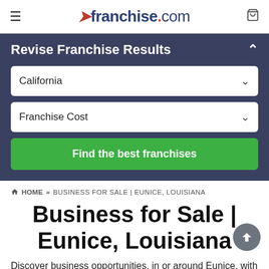franchise.com
Revise Franchise Results
California
Franchise Cost
Find the best franchises
HOME » BUSINESS FOR SALE | EUNICE, LOUISIANA
Business for Sale | Eunice, Louisiana
Discover business opportunities, in or around Eunice, with